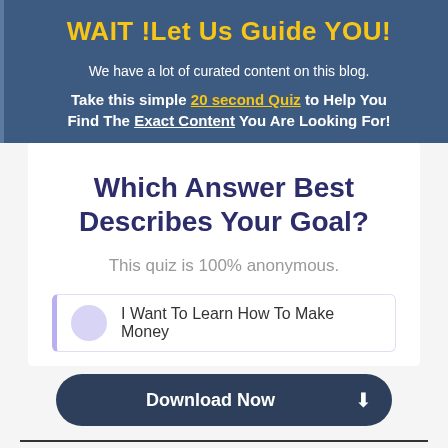WAIT !Let Us Guide YOU!
We have a lot of curated content on this blog.
Take this simple 20 second Quiz to Help You Find The Exact Content You Are Looking For!
Which Answer Best Describes Your Goal?
This quiz is 100% anonymous.
I Want To Learn How To Make Money
Download Now
RELATED POSTS